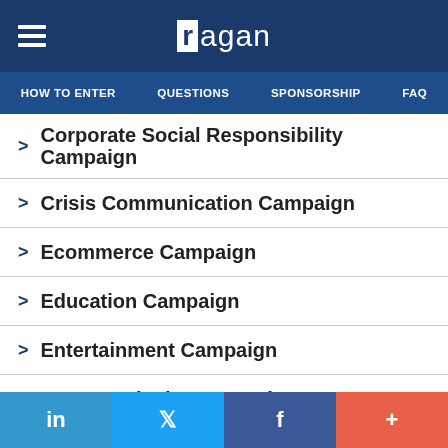ragan — HOW TO ENTER | QUESTIONS | SPONSORSHIP | FAQ
Corporate Social Responsibility Campaign
Crisis Communication Campaign
Ecommerce Campaign
Education Campaign
Entertainment Campaign
Event Marketing Campaign
Finance or Utilities Campaign
Food or Beverage Campaign
in | twitter | f | +